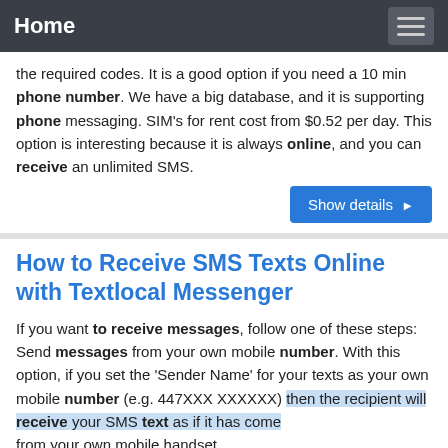Home
the required codes. It is a good option if you need a 10 min phone number. We have a big database, and it is supporting phone messaging. SIM's for rent cost from $0.52 per day. This option is interesting because it is always online, and you can receive an unlimited SMS.
How to Receive SMS Texts Online with Textlocal Messenger
If you want to receive messages, follow one of these steps: Send messages from your own mobile number. With this option, if you set the 'Sender Name' for your texts as your own mobile number (e.g. 447XXX XXXXXX) then the recipient will receive your SMS text as if it has come from your own mobile handset.